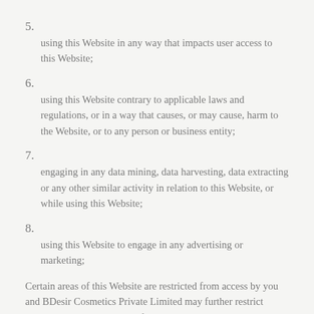5.
using this Website in any way that impacts user access to this Website;
6.
using this Website contrary to applicable laws and regulations, or in a way that causes, or may cause, harm to the Website, or to any person or business entity;
7.
engaging in any data mining, data harvesting, data extracting or any other similar activity in relation to this Website, or while using this Website;
8.
using this Website to engage in any advertising or marketing;
Certain areas of this Website are restricted from access by you and BDesir Cosmetics Private Limited may further restrict access by you to any areas of this Website, at any time, in its sole and absolute discretion. Any user ID and password you may have for